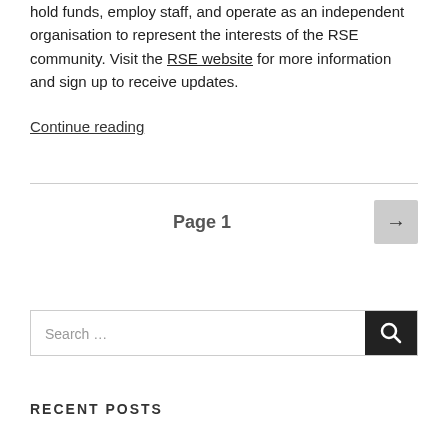hold funds, employ staff, and operate as an independent organisation to represent the interests of the RSE community. Visit the RSE website for more information and sign up to receive updates.
Continue reading
Page 1
Search …
RECENT POSTS